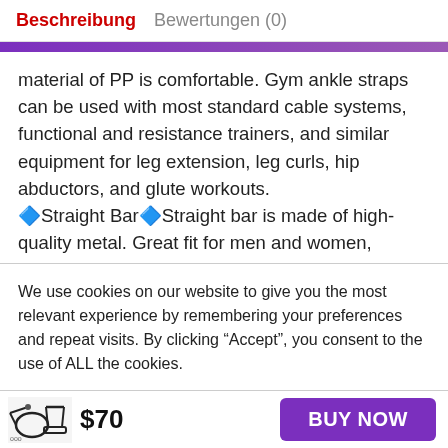Beschreibung   Bewertungen (0)
material of PP is comfortable. Gym ankle straps can be used with most standard cable systems, functional and resistance trainers, and similar equipment for leg extension, leg curls, hip abductors, and glute workouts.
🔷Straight Bar🔷Straight bar is made of high-quality metal. Great fit for men and women, grooved with texture for slip-proofing and matted with special
We use cookies on our website to give you the most relevant experience by remembering your preferences and repeat visits. By clicking “Accept”, you consent to the use of ALL the cookies.
$70
BUY NOW